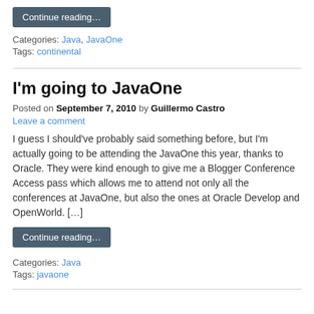Continue reading…
Categories: Java, JavaOne
Tags: continental
I'm going to JavaOne
Posted on September 7, 2010 by Guillermo Castro
Leave a comment
I guess I should've probably said something before, but I'm actually going to be attending the JavaOne this year, thanks to Oracle. They were kind enough to give me a Blogger Conference Access pass which allows me to attend not only all the conferences at JavaOne, but also the ones at Oracle Develop and OpenWorld. […]
Continue reading…
Categories: Java
Tags: javaone